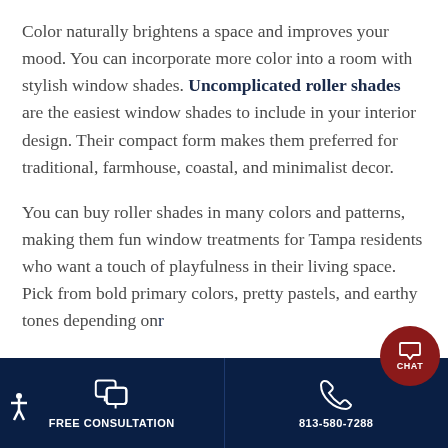Color naturally brightens a space and improves your mood. You can incorporate more color into a room with stylish window shades. Uncomplicated roller shades are the easiest window shades to include in your interior design. Their compact form makes them preferred for traditional, farmhouse, coastal, and minimalist decor.
You can buy roller shades in many colors and patterns, making them fun window treatments for Tampa residents who want a touch of playfulness in their living space. Pick from bold primary colors, pretty pastels, and earthy tones depending on...
FREE CONSULTATION | 813-580-7288